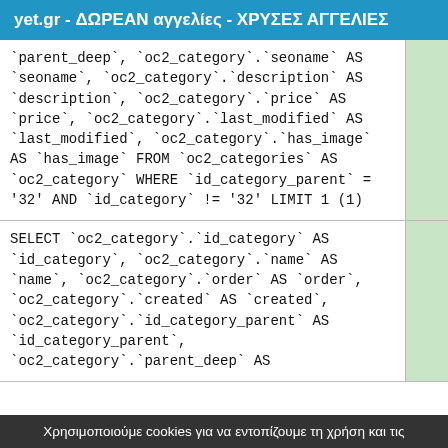yet.gr - ΔΩΡΕΑΝ αγγελίες - ΧΡΥΣΕΣ ΑΓΓΕΛΙΕΣ
`parent_deep`, `oc2_category`.`seoname` AS `seoname`, `oc2_category`.`description` AS `description`, `oc2_category`.`price` AS `price`, `oc2_category`.`last_modified` AS `last_modified`, `oc2_category`.`has_image` AS `has_image` FROM `oc2_categories` AS `oc2_category` WHERE `id_category_parent` = '32' AND `id_category` != '32' LIMIT 1 (1)
SELECT `oc2_category`.`id_category` AS `id_category`, `oc2_category`.`name` AS `name`, `oc2_category`.`order` AS `order`, `oc2_category`.`created` AS `created`, `oc2_category`.`id_category_parent` AS `id_category_parent`, `oc2_category`.`parent_deep` AS
Χρησιμοποιούμε cookies για να εντοπίζουμε τη χρήση και τις